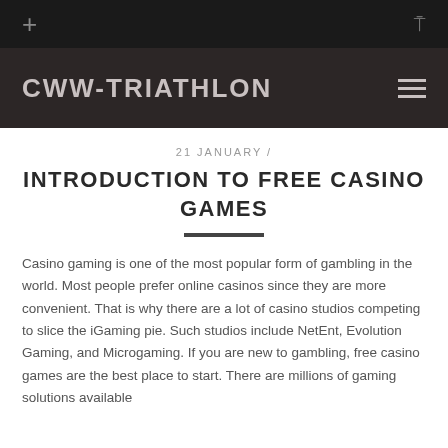+ CWW-TRIATHLON ≡
21 JANUARY /
INTRODUCTION TO FREE CASINO GAMES
Casino gaming is one of the most popular form of gambling in the world. Most people prefer online casinos since they are more convenient. That is why there are a lot of casino studios competing to slice the iGaming pie. Such studios include NetEnt, Evolution Gaming, and Microgaming. If you are new to gambling, free casino games are the best place to start. There are millions of gaming solutions available